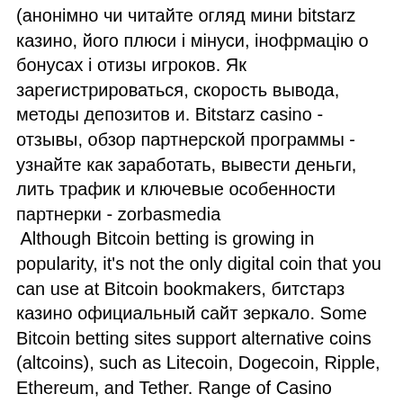(анонімно чи читайте огляд мини bitstarz казино, його плюси і мінуси, інофрмацію о бонусах і отизы игроков. Як зарегистрироваться, скорость вывода, методы депозитов и. Bitstarz casino - отзывы, обзор партнерской программы - узнайте как заработать, вывести деньги, лить трафик и ключевые особенности партнерки - zorbasmedia Although Bitcoin betting is growing in popularity, it's not the only digital coin that you can use at Bitcoin bookmakers, битстарз казино официальный сайт зеркало. Some Bitcoin betting sites support alternative coins (altcoins), such as Litecoin, Dogecoin, Ripple, Ethereum, and Tether. Range of Casino Games. Cafe Casino and 7Bit Casino are the best for the range of casino games, битстарз казино промокод бездепозитный. Thank you kindly for your support, битстарз казино официальный сайт зеркало контрольчестности.рф. Best